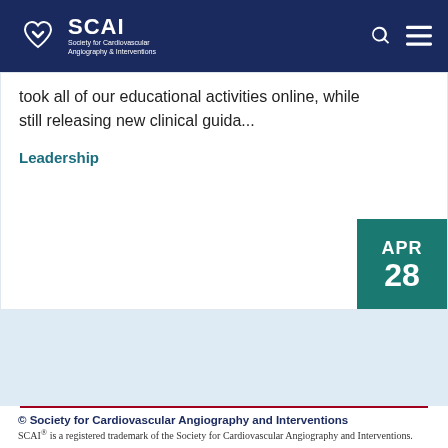SCAI — Society for Cardiovascular Angiography & Interventions
took all of our educational activities online, while still releasing new clinical guida...
Leadership
APR 28
© Society for Cardiovascular Angiography and Interventions
SCAI® is a registered trademark of the Society for Cardiovascular Angiography and Interventions.